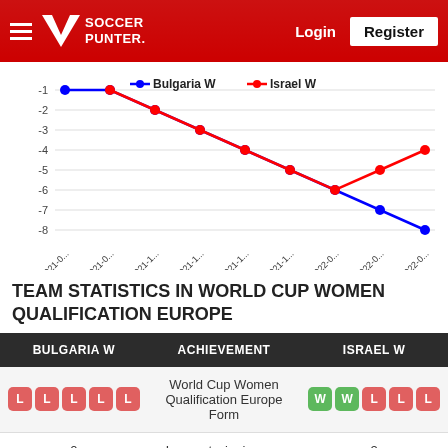Soccer Punter — Login | Register
[Figure (line-chart): Bulgaria W vs Israel W]
TEAM STATISTICS IN WORLD CUP WOMEN QUALIFICATION EUROPE
| BULGARIA W | ACHIEVEMENT | ISRAEL W |
| --- | --- | --- |
| L L L L L | World Cup Women Qualification Europe Form | W W L L L |
| 0 | Longest winning run | 2 |